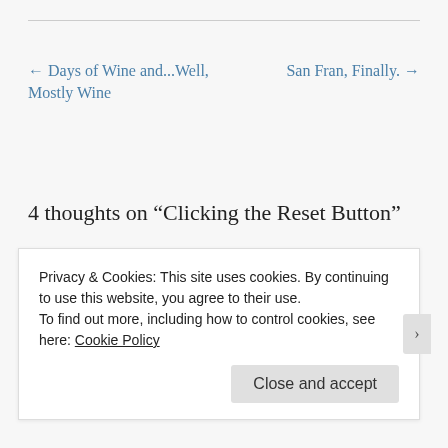← Days of Wine and...Well, Mostly Wine
San Fran, Finally. →
4 thoughts on “Clicking the Reset Button”
lizsturm
Privacy & Cookies: This site uses cookies. By continuing to use this website, you agree to their use.
To find out more, including how to control cookies, see here: Cookie Policy
Close and accept